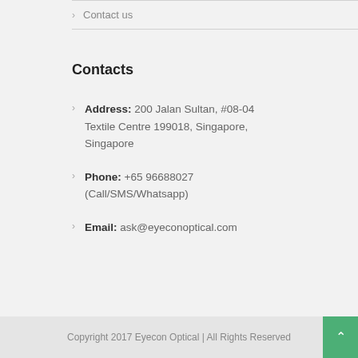Contact us
Contacts
Address: 200 Jalan Sultan, #08-04 Textile Centre 199018, Singapore, Singapore
Phone: +65 96688027 (Call/SMS/Whatsapp)
Email: ask@eyeconoptical.com
Copyright 2017 Eyecon Optical | All Rights Reserved